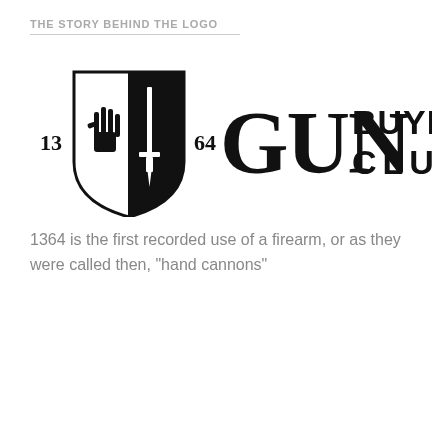THE STORY BEHIND THE LOGO
[Figure (logo): Gun Buyers Club logo: shield emblem with numbers 13 and 64 on either side, containing a hand and sword/dagger icon split black and white, next to large bold text reading GUN BUYERS CLUB]
1364 is the first recorded use of a firearm, or as they were called then, "hand cannons"